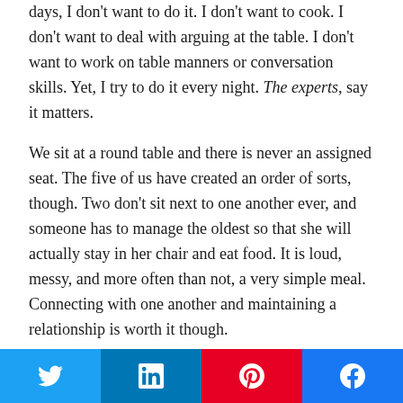days, I don't want to do it. I don't want to cook. I don't want to deal with arguing at the table. I don't want to work on table manners or conversation skills. Yet, I try to do it every night. The experts, say it matters.
We sit at a round table and there is never an assigned seat. The five of us have created an order of sorts, though. Two don't sit next to one another ever, and someone has to manage the oldest so that she will actually stay in her chair and eat food. It is loud, messy, and more often than not, a very simple meal. Connecting with one another and maintaining a relationship is worth it though.
I write this because it is a
Twitter LinkedIn Pinterest Facebook